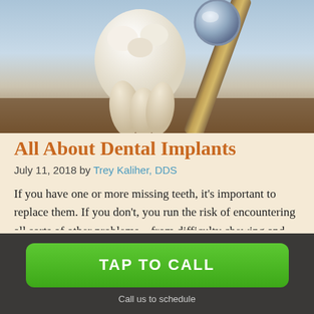[Figure (photo): Close-up photo of a dental molar tooth with roots visible, alongside a dental mirror/probe instrument, on a dark wooden surface with a light blue-grey background.]
All About Dental Implants
July 11, 2018 by Trey Kaliher, DDS
If you have one or more missing teeth, it’s important to replace them. If you don’t, you run the risk of encountering all sorts of other problems – from difficulty chewing and speaking to jaw problems and more. Fortunately, there are several different e... b... patients is the dental implant. When you find out
TAP TO CALL
Call us to schedule